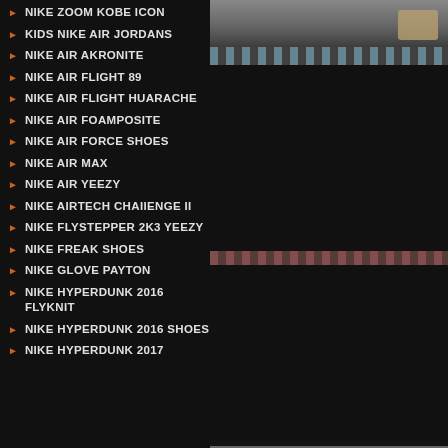NIKE ZOOM KOBE ICON
KIDS NIKE AIR JORDANS
NIKE AIR AKRONITE
NIKE AIR FLIGHT 89
NIKE AIR FLIGHT HUARACHE
NIKE AIR FOAMPOSITE
NIKE AIR FORCE SHOES
NIKE AIR MAX
NIKE AIR YEEZY
NIKE AIRTECH CHAIIENGE II
NIKE FLYSTEPPER 2K3 YEEZY
NIKE FREAK SHOES
NIKE GLOVE PAYTON
NIKE HYPERDUNK 2016 FLYKNIT
NIKE HYPERDUNK 2016 SHOES
NIKE HYPERDUNK 2017
[Figure (photo): Partial shoe/product photo at the top right]
[Figure (photo): Shoe product image middle right panel]
[Figure (photo): Shoe product image lower right panel]